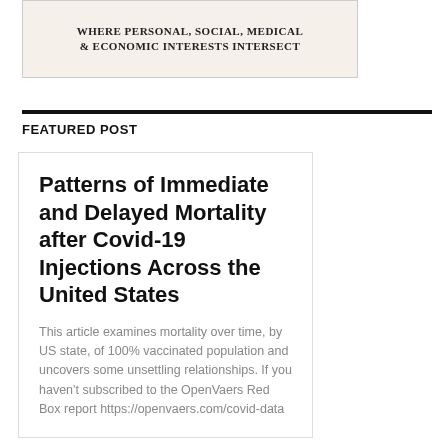[Figure (illustration): Banner image with text: WHERE PERSONAL, SOCIAL, MEDICAL & ECONOMIC INTERESTS INTERSECT on a light beige background with a partial figure illustration]
FEATURED POST
Patterns of Immediate and Delayed Mortality after Covid-19 Injections Across the United States
This article examines mortality over time, by US state, of 100% vaccinated population and uncovers some unsettling relationships. If you haven't subscribed to the OpenVaers Red Box report https://openvaers.com/covid-data